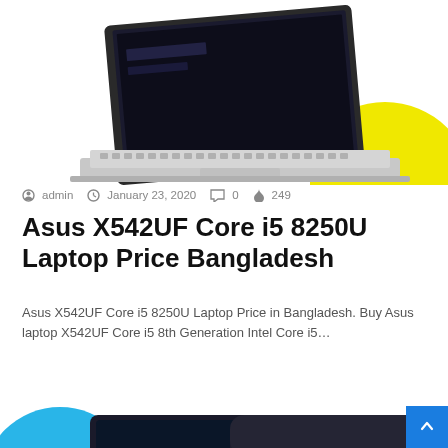[Figure (photo): Asus X542UF laptop open showing keyboard and screen from above angle, with yellow half-circle decorative element in background]
admin   January 23, 2020   0   249
Asus X542UF Core i5 8250U Laptop Price Bangladesh
Asus X542UF Core i5 8250U Laptop Price in Bangladesh. Buy Asus laptop X542UF Core i5 8th Generation Intel Core i5…
Read More »
[Figure (photo): Asus laptop showing front screen with Windows interface displaying 3:17 Friday July 15, and back showing ASUS logo, with blue circle decorative element]